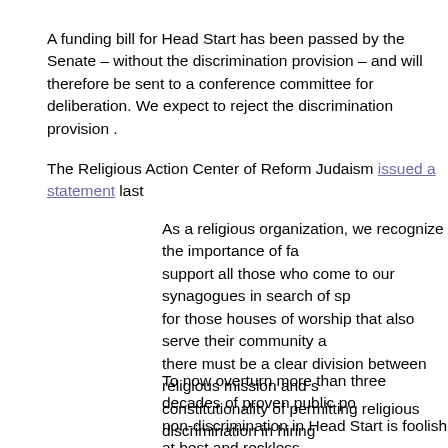A funding bill for Head Start has been passed by the Senate – without the discrimination provision – and will therefore be sent to a conference committee for deliberation. We expect to reject the discrimination provision .
The Religious Action Center of Reform Judaism issued a statement last...
As a religious organization, we recognize the importance of faith and support all those who come to our synagogues in search of spiritual guidance for those houses of worship that also serve their community as social service, there must be a clear division between religious mission and secular service. The constitutionality of permitting religious discrimination in hiring with public dollars remains an open question, yet on a policy level it is clear that such discrimination is simply misguided. Throughout its history, the children served by Head Start have been taught by teachers qualified by education – not theology.
To now overturn more than three decades of proven public policy of non-discrimination in Head Start is foolish at best and reckless. Congress would better spend its time focusing on legislative efforts to improve early education than considering how to use public funds to divide people along religious lines. We call on the Senate to reject any similar effort to permit discrimination in Head Start and ensure that our nation's children receive the best education we are capable of providing.